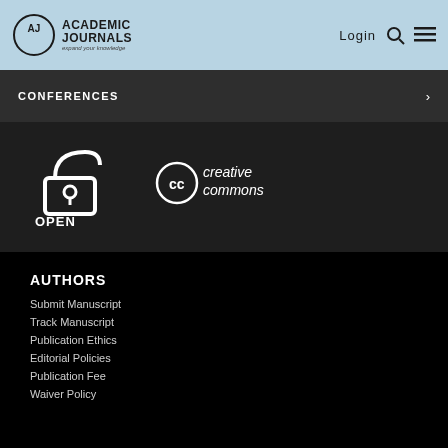Academic Journals — expand your knowledge | Login
CONFERENCES
[Figure (logo): Open Access logo with lock icon and text 'OPEN ACCESS']
[Figure (logo): Creative Commons logo with CC symbol and text 'creative commons']
AUTHORS
Submit Manuscript
Track Manuscript
Publication Ethics
Editorial Policies
Publication Fee
Waiver Policy